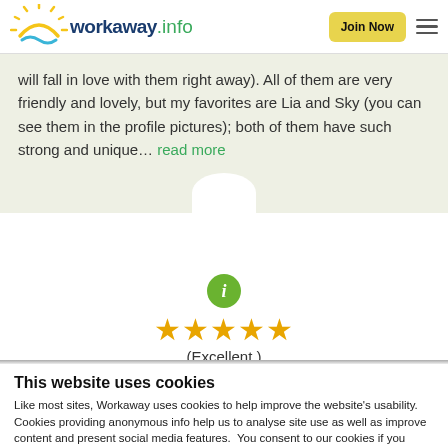workaway.info — Join Now
will fall in love with them right away). All of them are very friendly and lovely, but my favorites are Lia and Sky (you can see them in the profile pictures); both of them have such strong and unique... read more
[Figure (other): Green circle info icon with letter i]
[Figure (other): Five gold star rating icons]
(Excellent)
This website uses cookies
Like most sites, Workaway uses cookies to help improve the website's usability. Cookies providing anonymous info help us to analyse site use as well as improve content and present social media features.  You consent to our cookies if you continue to use our website.
OK
Settings